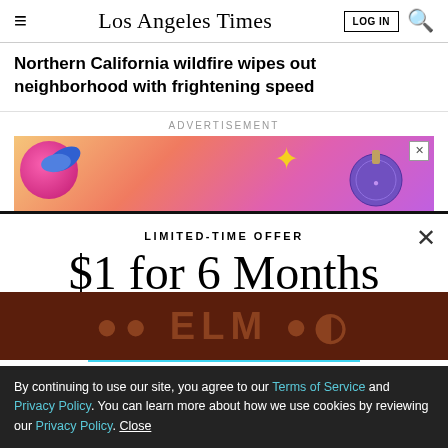Los Angeles Times
Northern California wildfire wipes out neighborhood with frightening speed
ADVERTISEMENT
[Figure (illustration): Colorful advertisement banner with holiday ornament decorations on a gradient background]
LIMITED-TIME OFFER
$1 for 6 Months
SUBSCRIBE NOW
By continuing to use our site, you agree to our Terms of Service and Privacy Policy. You can learn more about how we use cookies by reviewing our Privacy Policy. Close